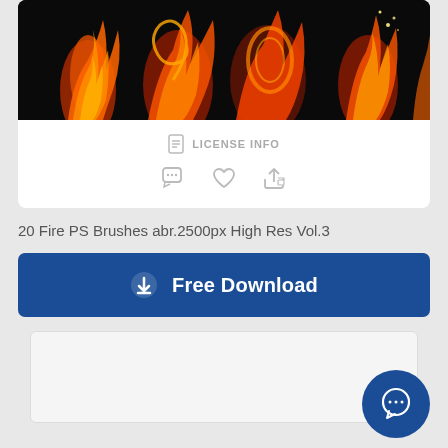[Figure (photo): Fire brushes preview image on black background showing orange and red flame designs]
LICENSE INFO
[Figure (other): Action icons row: comment bubble, heart/like, share]
20 Fire PS Brushes abr.2500px High Res Vol.3
[Figure (other): Free Download button with download icon]
[Figure (other): Preview card area below download button (light gray box)]
[Figure (other): Floating chat bubble button (dark blue circle, bottom right)]